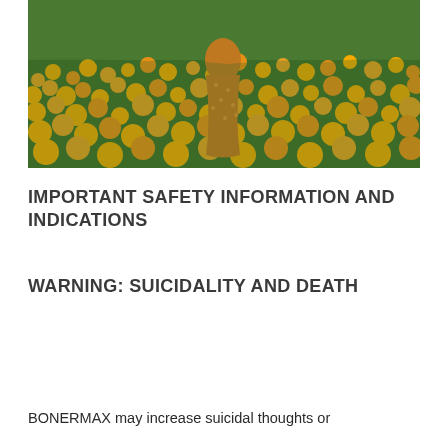[Figure (photo): A person in an orange dotted dress walking through a field of bright orange marigold flowers with green foliage.]
IMPORTANT SAFETY INFORMATION AND INDICATIONS
WARNING: SUICIDALITY AND DEATH
BONERMAX may increase suicidal thoughts or